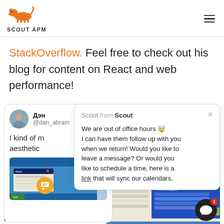[Figure (logo): Scout APM logo with orange dog icon and text 'Scout APM']
StackOverflow. Feel free to check out his blog for content on React and web performance!
[Figure (screenshot): A tweet by Дэн (@dan_abram) with text 'I kind of m... aesthetic' overlaid by a Scout chat popup saying 'We are out of office hours, I can have them follow up with you when we return! Would you like to leave a message? Or would you like to schedule a time, here is a link that will sync our calendars.' Below is a Windows XP-style desktop screenshot. A chat widget icon with badge '1' is in the bottom right corner.]